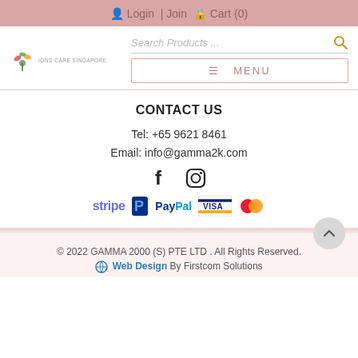Login | Join  Cart (0)
[Figure (logo): Ions Care Singapore logo with colorful flower/plant icon and text IONS CARE SINGAPORE]
Search Products ...
≡ MENU
CONTACT US
Tel: +65 9621 8461
Email: info@gamma2k.com
[Figure (illustration): Facebook and Instagram social media icons]
[Figure (illustration): Payment method logos: Stripe, PayPal (P logo), PayPal text, VISA, MasterCard]
© 2022 GAMMA 2000 (S) PTE LTD . All Rights Reserved.
Web Design By Firstcom Solutions